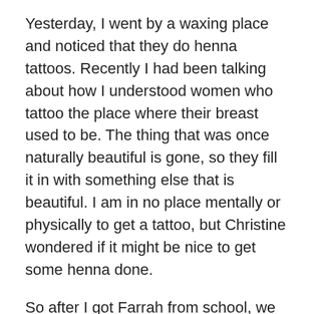Yesterday, I went by a waxing place and noticed that they do henna tattoos. Recently I had been talking about how I understood women who tattoo the place where their breast used to be. The thing that was once naturally beautiful is gone, so they fill it in with something else that is beautiful. I am in no place mentally or physically to get a tattoo, but Christine wondered if it might be nice to get some henna done.
So after I got Farrah from school, we got tattoos. The women there were gracious and kind. They kept reassuring me that God would take care of me and that everything would be good. They also showed me videos of yoga breathing that they said would help me. I thought they might be taken back by my request, but they looks at people's hairy parts all day, so it's probably okay. The smell from the mud ended up making me feel sick several